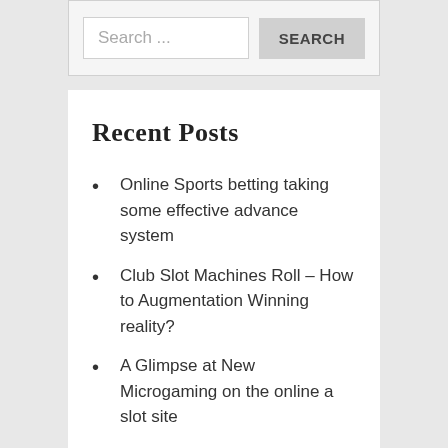[Figure (screenshot): Search input box with placeholder 'Search ...' and a SEARCH button]
Recent Posts
Online Sports betting taking some effective advance system
Club Slot Machines Roll – How to Augmentation Winning reality?
A Glimpse at New Microgaming on the online a slot site
Know the Advantages – Is Virtual Gambling Staying put?
Gacor Online Slot Gambling Site – Why